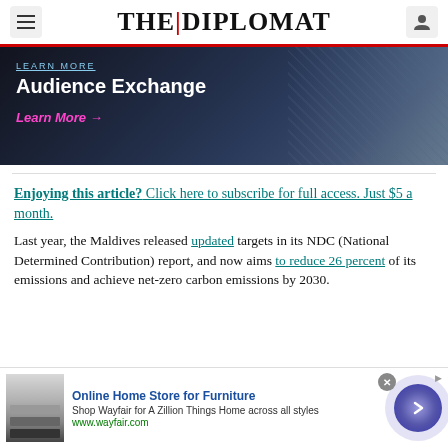THE DIPLOMAT
[Figure (screenshot): Advertisement banner for Audience Exchange with aerial city photo background and 'Learn More' link]
Enjoying this article? Click here to subscribe for full access. Just $5 a month.
Last year, the Maldives released updated targets in its NDC (National Determined Contribution) report, and now aims to reduce 26 percent of its emissions and achieve net-zero carbon emissions by 2030.
[Figure (screenshot): Advertisement for Wayfair Online Home Store for Furniture with furniture image and arrow button]